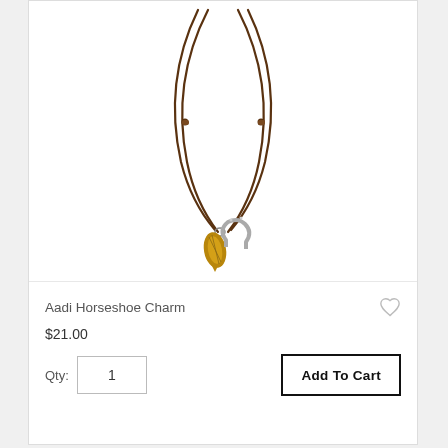[Figure (photo): A necklace with a brown leather cord and two charms — a bronze/gold colored charm and a silver horseshoe charm — photographed on a white background.]
Aadi Horseshoe Charm
$21.00
Qty: 1
Add To Cart